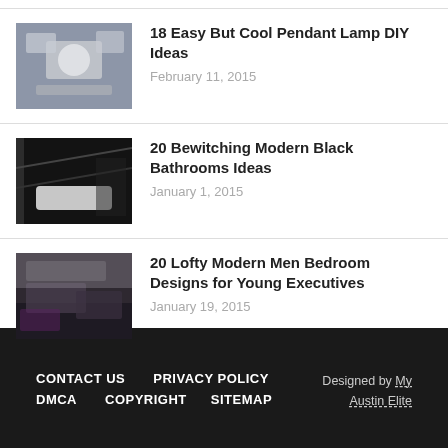18 Easy But Cool Pendant Lamp DIY Ideas
February 11, 2015
20 Bewitching Modern Black Bathrooms Ideas
January 1, 2015
20 Lofty Modern Men Bedroom Designs for Young Executives
January 19, 2015
CONTACT US   PRIVACY POLICY   DMCA   COPYRIGHT   SITEMAP   Designed by My Austin Elite